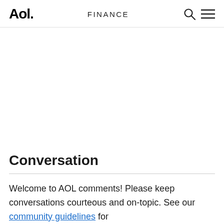Aol. FINANCE
Conversation
Welcome to AOL comments! Please keep conversations courteous and on-topic. See our community guidelines for